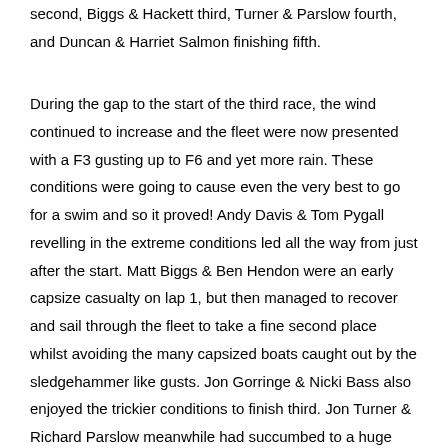second, Biggs & Hackett third, Turner & Parslow fourth, and Duncan & Harriet Salmon finishing fifth.
During the gap to the start of the third race, the wind continued to increase and the fleet were now presented with a F3 gusting up to F6 and yet more rain. These conditions were going to cause even the very best to go for a swim and so it proved! Andy Davis & Tom Pygall revelling in the extreme conditions led all the way from just after the start. Matt Biggs & Ben Hendon were an early capsize casualty on lap 1, but then managed to recover and sail through the fleet to take a fine second place whilst avoiding the many capsized boats caught out by the sledgehammer like gusts. Jon Gorringe & Nicki Bass also enjoyed the trickier conditions to finish third. Jon Turner & Richard Parslow meanwhile had succumbed to a huge gust and wind shift at the gybe mark and wiped out at very